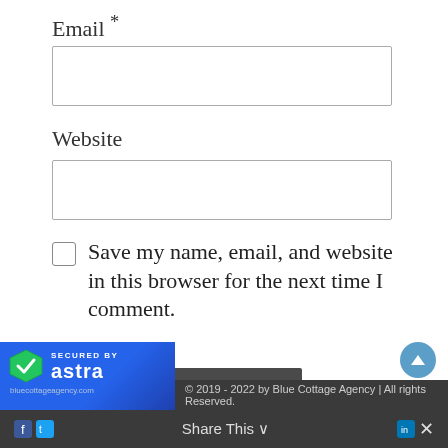Email *
Website
Save my name, email, and website in this browser for the next time I comment.
POST COMMENT
SECURED BY astra
© 2019 - 2022 by Blue Cottage Agency | All rights Reserved.
Share This